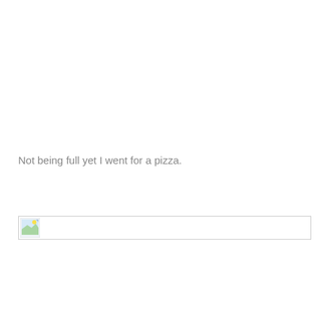Not being full yet I went for a pizza.
[Figure (photo): Broken image placeholder with small landscape icon and border line]